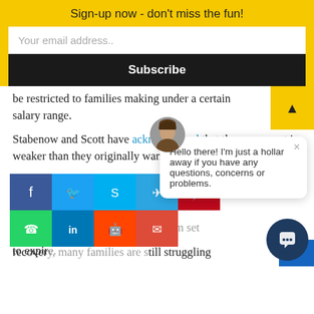Sign-up now - don't miss the fun!
Your email address..
Subscribe
be restricted to families making under a certain salary range.
Stabenow and Scott have acknowledged that the agreement is weaker than they originally wanted. Still, the la... for the waiver pro... were able to reach... Republicans on th... nine days before t... current program set to expir...
[Figure (screenshot): Chat bubble overlay with avatar: 'Hello there! I'm just a hollar away if you have any questions, concerns or problems.']
[Figure (infographic): Social share buttons: Facebook, Twitter, Skype, Telegram, Pinterest (top row); WhatsApp, LinkedIn, Reddit, Email (bottom row)]
“While t... road to recover... till struggling